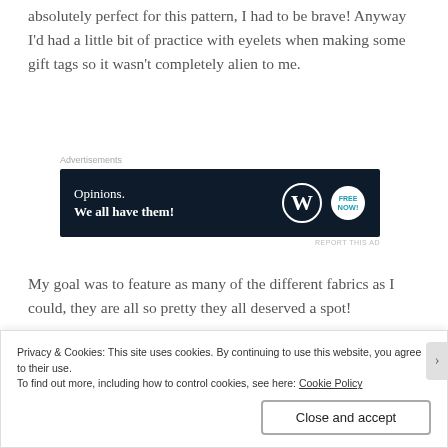absolutely perfect for this pattern, I had to be brave! Anyway I'd had a little bit of practice with eyelets when making some gift tags so it wasn't completely alien to me.
[Figure (other): Advertisement banner with dark navy background showing 'Opinions. We all have them!' text with WordPress and Now logos]
My goal was to feature as many of the different fabrics as I could, they are all so pretty they all deserved a spot!
[Figure (photo): Light gray image placeholder/photo area]
Privacy & Cookies: This site uses cookies. By continuing to use this website, you agree to their use.
To find out more, including how to control cookies, see here: Cookie Policy